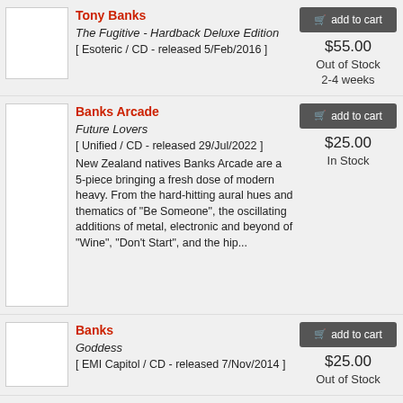Tony Banks
The Fugitive - Hardback Deluxe Edition
[ Esoteric / CD - released 5/Feb/2016 ]
$55.00
Out of Stock
2-4 weeks
Banks Arcade
Future Lovers
[ Unified / CD - released 29/Jul/2022 ]
New Zealand natives Banks Arcade are a 5-piece bringing a fresh dose of modern heavy. From the hard-hitting aural hues and thematics of "Be Someone", the oscillating additions of metal, electronic and beyond of "Wine", "Don't Start", and the hip...
$25.00
In Stock
Banks
Goddess
[ EMI Capitol / CD - released 7/Nov/2014 ]
$25.00
Out of Stock